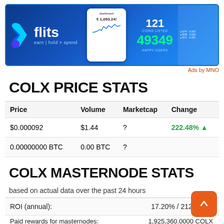[Figure (other): Flits app banner ad with logo, phone mockup, 121 coins listed, 49349 happy users]
Ads by MNO
COLX PRICE STATS
| Price | Volume | Marketcap | Change |
| --- | --- | --- | --- |
| $0.000092 | $1.44 | ? | 222.48% ▲ |
| 0.00000000 BTC | 0.00 BTC | ? |  |
COLX MASTERNODE STATS
based on actual data over the past 24 hours
| ROI (annual): | 17.20% / 2122 days |
| Paid rewards for masternodes: | 1,925,360.0000 COLX |